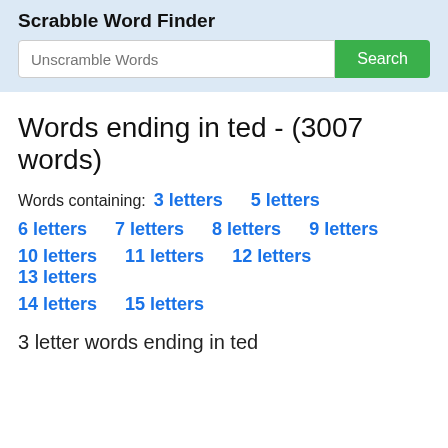Scrabble Word Finder
Words ending in ted - (3007 words)
Words containing:  3 letters   5 letters
6 letters   7 letters   8 letters   9 letters
10 letters   11 letters   12 letters   13 letters
14 letters   15 letters
3 letter words ending in ted